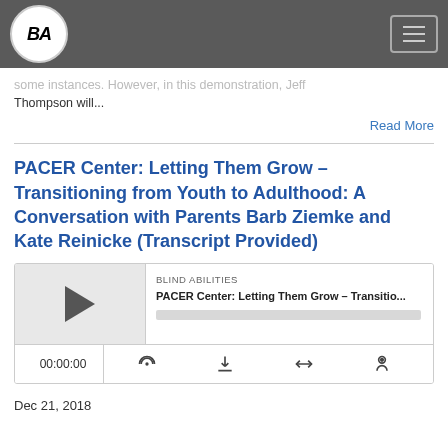BA / Blind Abilities
some instances. However, in this demonstration, Jeff Thompson will...
Read More
PACER Center: Letting Them Grow – Transitioning from Youth to Adulthood: A Conversation with Parents Barb Ziemke and Kate Reinicke (Transcript Provided)
[Figure (other): Podcast audio player widget showing BLIND ABILITIES label, episode title 'PACER Center: Letting Them Grow – Transitio...', play button, progress bar, timer showing 00:00:00, and control icons for stream, download, embed, and settings]
Dec 21, 2018